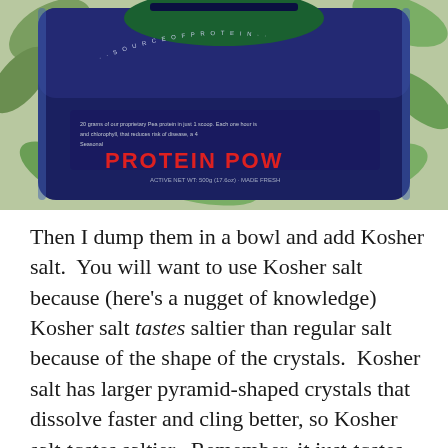[Figure (photo): Photo of a dark navy blue protein powder package with green leaf decorations in the background. The package shows text including 'SOURCE OF PRO...' and 'PROTEIN POW...' with some nutritional text visible.]
Then I dump them in a bowl and add Kosher salt.  You will want to use Kosher salt because (here's a nugget of knowledge) Kosher salt tastes saltier than regular salt because of the shape of the crystals.  Kosher salt has larger pyramid-shaped crystals that dissolve faster and cling better, so Kosher salt tastes saltier.  Remember, it just tastes saltier.  There are equal amounts of salt in Kosher salt and table salt if you are weighing them.  Now here is where it can get confusing, if you measure them both in a cup, Kosher salt has larger crystals and doesn't pack together as close as table salt, so in a cup of Kosher